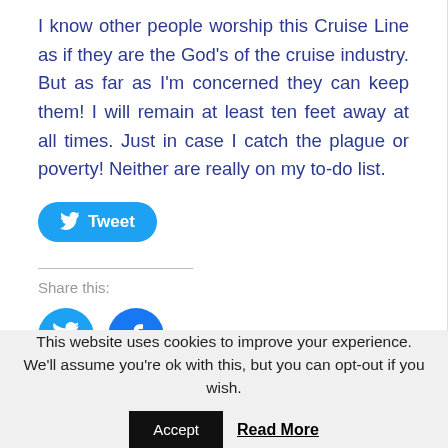I know other people worship this Cruise Line as if they are the God's of the cruise industry. But as far as I'm concerned they can keep them! I will remain at least ten feet away at all times. Just in case I catch the plague or poverty! Neither are really on my to-do list.
[Figure (other): Tweet button (blue rounded rectangle with Twitter bird icon and 'Tweet' label)]
Share this:
[Figure (other): Two circular social share buttons: Twitter (blue) and Facebook (blue)]
[Figure (other): Like button box with star icon and 'Like' text]
Be the first to like this.
This website uses cookies to improve your experience. We'll assume you're ok with this, but you can opt-out if you wish.